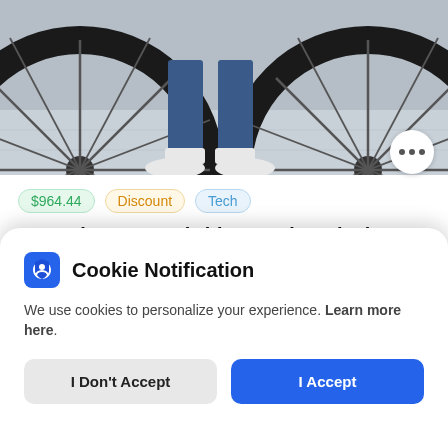[Figure (photo): Photo of bicycle wheels and a person's legs wearing jeans and white sneakers standing between two large black bicycle wheels on a grey pavement background.]
$964.44  Discount  Tech
Pure Flux One Hybrid Everyday Black Electric Bike
3 months ago by Amy
Cookie Notification
We use cookies to personalize your experience. Learn more here.
I Don't Accept
I Accept